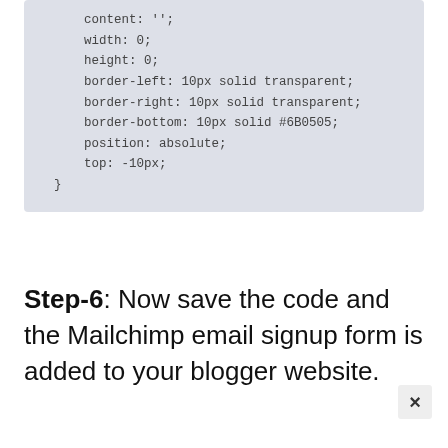[Figure (screenshot): Code block showing CSS properties: content: ''; width: 0; height: 0; border-left: 10px solid transparent; border-right: 10px solid transparent; border-bottom: 10px solid #6B0505; position: absolute; top: -10px; }]
Step-6: Now save the code and the Mailchimp email signup form is added to your blogger website.